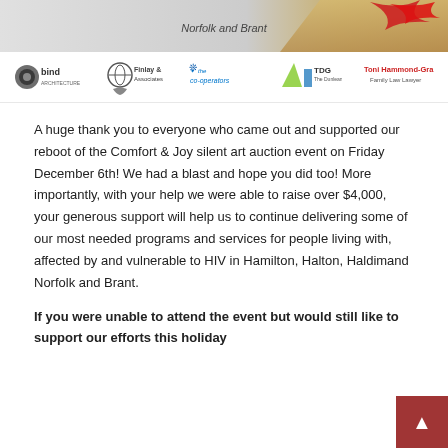[Figure (illustration): Banner image with text 'Norfolk and Brant', red graphic element and golden pen/hand on right side]
[Figure (logo): Row of sponsor logos: bind architecture, Finlay & Associates, the co-operators, TDG The Dunlean Group, Toni Hammond-Grant Family Law Lawyer]
A huge thank you to everyone who came out and supported our reboot of the Comfort & Joy silent art auction event on Friday December 6th! We had a blast and hope you did too! More importantly, with your help we were able to raise over $4,000, your generous support will help us to continue delivering some of our most needed programs and services for people living with, affected by and vulnerable to HIV in Hamilton, Halton, Haldimand Norfolk and Brant.
If you were unable to attend the event but would still like to support our efforts this holiday